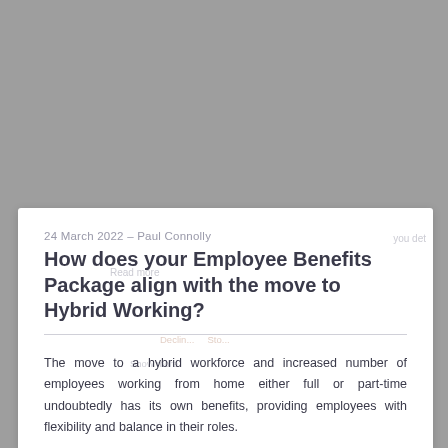[Figure (photo): Gray background area occupying the upper portion of the page, representing a webpage screenshot context]
24 March 2022 – Paul Connolly
How does your Employee Benefits Package align with the move to Hybrid Working?
The move to a hybrid workforce and increased number of employees working from home either full or part-time undoubtedly has its own benefits, providing employees with flexibility and balance in their roles.